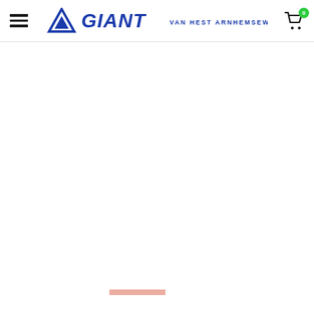Giant Van Hest Arnhemseweg - navigation header with hamburger menu, Giant logo, and shopping cart with badge 0
[Figure (screenshot): Mostly blank white content area below the header with a small pink/red horizontal bar element near the bottom center]